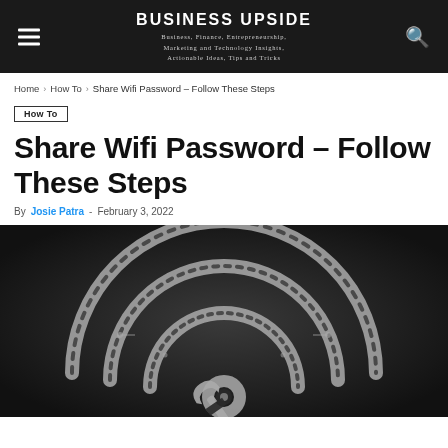BUSINESS UPSIDE — Business, Finance, Entrepreneurship, Marketing and Technology Insights, Actionable Ideas, Tips and Tricks
Home › How To › Share Wifi Password – Follow These Steps
How To
Share Wifi Password – Follow These Steps
By Josie Patra - February 3, 2022
[Figure (illustration): Dark background illustration of a WiFi symbol made of circuit board patterns, with a wrench tool overlaid at the bottom, suggesting technical/tech repair theme]